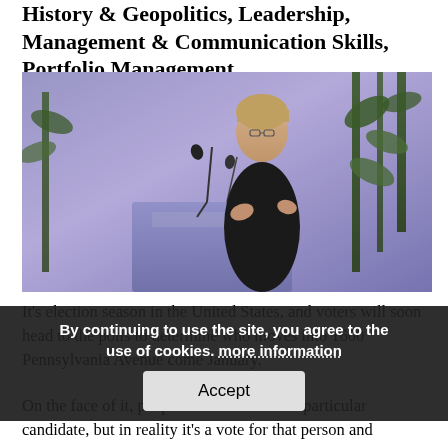History & Geopolitics, Leadership, Management & Communication Skills, Portfolio Management
[Figure (photo): A woman in a dark blazer speaking at a purple podium with a microphone, in front of a curtained backdrop with greenery. Conference or lecture setting.]
It's election season in the United States, and voters will soon head to the polls to determine who moves into 1600 Pennsylvania Avenue come January.
On the face of it, people cast a ballot for a particular candidate, but in reality it's a vote for that person and